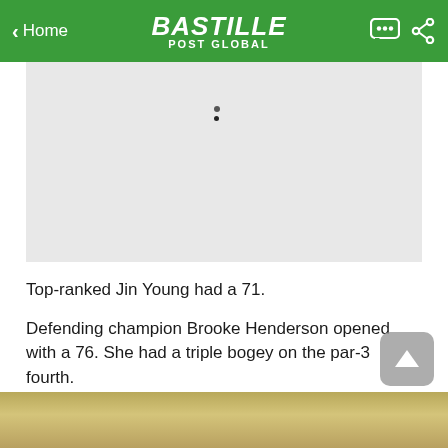< Home  BASTILLE POST GLOBAL
[Figure (photo): Light gray image placeholder with a small golf ball visible near the top center]
Top-ranked Jin Young had a 71.
Defending champion Brooke Henderson opened with a 76. She had a triple bogey on the par-3 fourth.
The tournament opens a two-week stay in Los Angeles area, with the Palos Verdes Championship next week.
[Figure (photo): Partial bottom strip showing a golf course green/fairway scene]